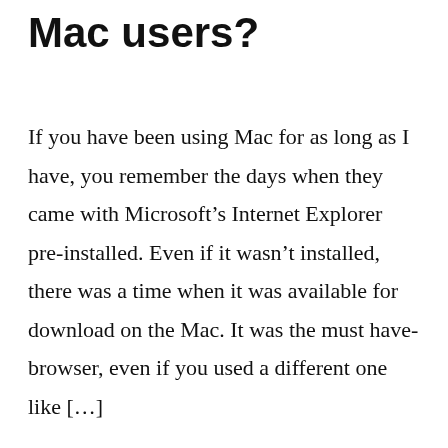Mac users?
If you have been using Mac for as long as I have, you remember the days when they came with Microsoft’s Internet Explorer pre-installed. Even if it wasn’t installed, there was a time when it was available for download on the Mac. It was the must have-browser, even if you used a different one like […]